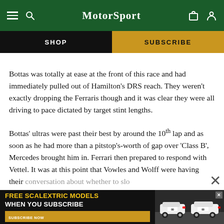MotorSport
SHOP
SUBSCRIBE
Bottas was totally at ease at the front of this race and had immediately pulled out of Hamilton's DRS reach. They weren't exactly dropping the Ferraris though and it was clear they were all driving to pace dictated by target stint lengths.
Bottas' ultras were past their best by around the 10th lap and as soon as he had more than a pitstop's-worth of gap over 'Class B', Mercedes brought him in. Ferrari then prepared to respond with Vettel. It was at this point that Vowles and Wolff were having their conve... to slo...
[Figure (screenshot): Advertisement banner: FREE SCALEXTRIC MODELS WHEN YOU SUBSCRIBE, with image of racing cars]